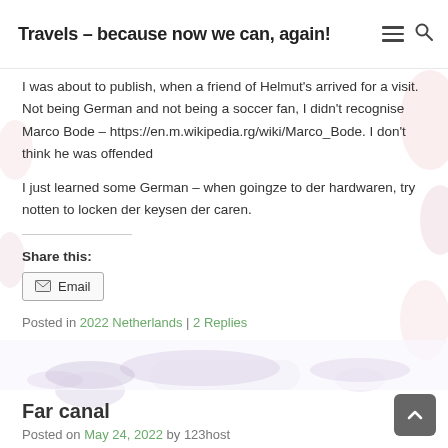Travels – because now we can, again!
I was about to publish, when a friend of Helmut's arrived for a visit. Not being German and not being a soccer fan, I didn't recognise Marco Bode – https://en.m.wikipedia.rg/wiki/Marco_Bode. I don't think he was offended
I just learned some German – when goingze to der hardwaren, try notten to locken der keysen der caren.
Share this:
Email
Posted in 2022 Netherlands | 2 Replies
Far canal
Posted on May 24, 2022 by 123host